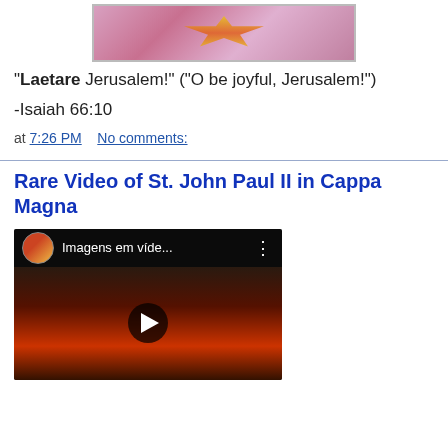[Figure (photo): Top portion of a pink vestment/chasuble with decorative golden/orange pattern in the center, shown in a framed photograph]
"Laetare Jerusalem!" ("O be joyful, Jerusalem!")
-Isaiah 66:10
at 7:26 PM   No comments:
Rare Video of St. John Paul II in Cappa Magna
[Figure (screenshot): YouTube video thumbnail showing 'Imagens em víde...' with people in red cardinal robes, a play button overlay, and a video menu button]